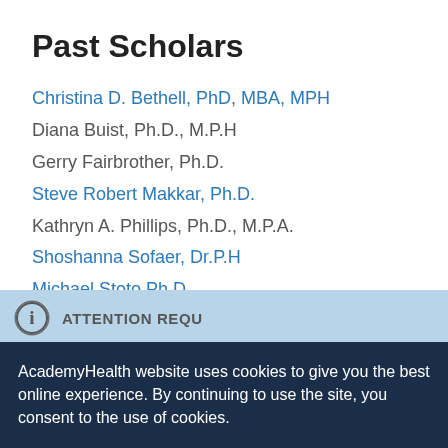Past Scholars
Christina D. Bethell, PhD, MBA, MPH
Diana Buist, Ph.D., M.P.H
Gerry Fairbrother, Ph.D.
Steve Robert Makkar, Ph.D.
Kathryn A. Phillips, Ph.D., M.P.A.
Shoshanna Sofaer, Dr.P.H
Michael Stoto Ph.D.
ATTENTION REQU[IRED]
AcademyHealth website uses cookies to give you the best online experience. By continuing to use the site, you consent to the use of cookies.
Accept
Privacy Center